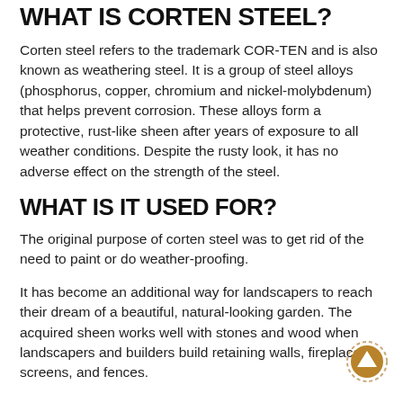WHAT IS CORTEN STEEL?
Corten steel refers to the trademark COR-TEN and is also known as weathering steel. It is a group of steel alloys (phosphorus, copper, chromium and nickel-molybdenum) that helps prevent corrosion. These alloys form a protective, rust-like sheen after years of exposure to all weather conditions. Despite the rusty look, it has no adverse effect on the strength of the steel.
WHAT IS IT USED FOR?
The original purpose of corten steel was to get rid of the need to paint or do weather-proofing.
It has become an additional way for landscapers to reach their dream of a beautiful, natural-looking garden. The acquired sheen works well with stones and wood when landscapers and builders build retaining walls, fireplaces, screens, and fences.